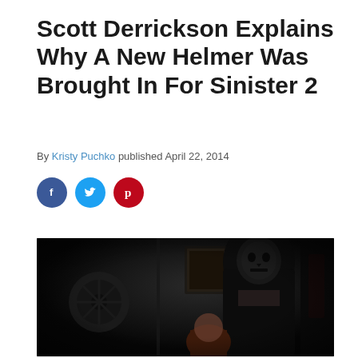Scott Derrickson Explains Why A New Helmer Was Brought In For Sinister 2
By Kristy Puchko published April 22, 2014
[Figure (other): Social media sharing icons: Facebook (blue circle with f), Twitter (light blue circle with bird), Pinterest (red circle with P)]
[Figure (photo): Dark horror movie still from Sinister 2 showing a masked figure in black standing behind a young girl with long red hair, in a dimly lit room]